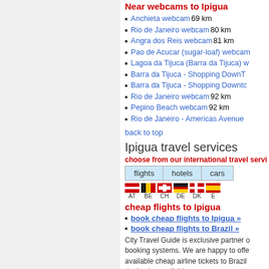Near webcams to Ipigua
Anchieta webcam 69 km
Rio de Janeiro webcam 80 km
Angra dos Reis webcam 81 km
Pao de Acucar (sugar-loaf) webcam
Lagoa da Tijuca (Barra da Tijuca) webcam
Barra da Tijuca - Shopping DownT...
Barra da Tijuca - Shopping Downtc...
Rio de Janeiro webcam 92 km
Pepino Beach webcam 92 km
Rio de Janeiro - Americas Avenue
back to top
Ipigua travel services
choose from our international travel services
| flights | hotels | cars |
| --- | --- | --- |
[Figure (infographic): Country flags: AT (Austria), BE (Belgium), CH (Switzerland), DE (Germany), DK (Denmark), ES (Spain)]
cheap flights to Ipigua
book cheap flights to Ipigua »
book cheap flights to Brazil »
City Travel Guide is exclusive partner of booking systems. We are happy to offer available cheap airline tickets to Brazil deals also available.
cheap Ipigua hotels
book cheap hotels to Ipigua »